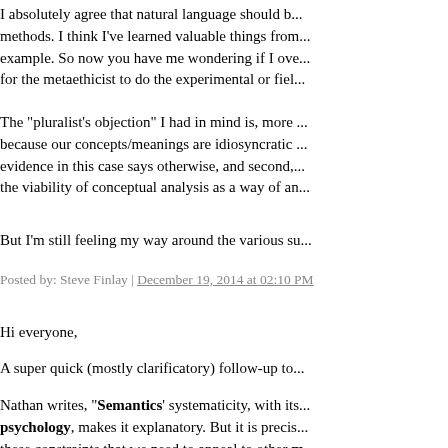I absolutely agree that natural language should be among the methods. I think I've learned valuable things from linguistic data, for example. So now you have me wondering if I over-stated the need for the metaethicist to do the experimental or field work.
The "pluralist's objection" I had in mind is, more specifically: because our concepts/meanings are idiosyncratic enough, first, the evidence in this case says otherwise, and second, this suggests the viability of conceptual analysis as a way of answering M1.
But I'm still feeling my way around the various su...
Posted by: Steve Finlay | December 19, 2014 at 02:10 PM
Hi everyone,
A super quick (mostly clarificatory) follow-up to...
Nathan writes, "Semantics' systematicity, with its... psychology, makes it explanatory. But it is precisely these constraints that we need to appeal to other m...
I feel like I'm missing something here. "Motives"... semantics has built into it constraints concerning ... like speakers' motives" that makes such informati... understanding semantics as including constraints...
Nathan also writes, "Relatedly, how does [Steve's... practical belief (supposing that practical judgmen... I would have thought that what explains the com...